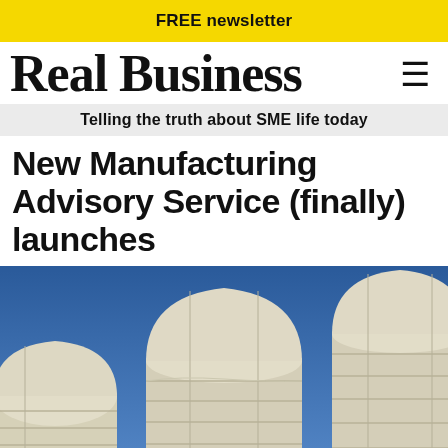FREE newsletter
Real Business
Telling the truth about SME life today
New Manufacturing Advisory Service (finally) launches
[Figure (photo): Industrial silos against a blue sky — three large white cylindrical storage silos photographed from below looking up, with a deep blue sky background]